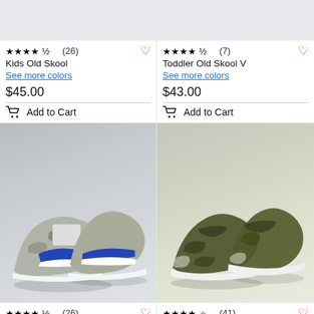[Figure (photo): Partial product image top — Kids Old Skool shoe (cropped, top portion)]
★★★★½ (26)
Kids Old Skool
See more colors
$45.00
Add to Cart
[Figure (photo): Partial product image top — Toddler Old Skool V shoe (cropped, top portion)]
★★★★½ (7)
Toddler Old Skool V
See more colors
$43.00
Add to Cart
[Figure (photo): Kids Old Skool shoe in silver/blue camo colorway on grey background]
★★★★½ (26)
Kids Old Skool
[Figure (photo): Kids Classic Slip-On shoe in olive/green camo colorway on grey background]
★★★★☆ (41)
Kids Classic Slip-On